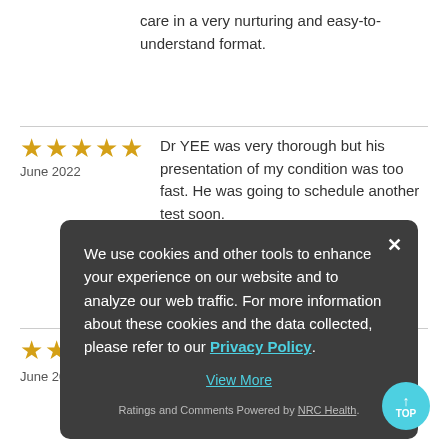care in a very nurturing and easy-to-understand format.
Dr YEE was very thorough but his presentation of my condition was too fast. He was going to schedule another test soon.
June 2022
We use cookies and other tools to enhance your experience on our website and to analyze our web traffic. For more information about these cookies and the data collected, please refer to our Privacy Policy.
View More
Ratings and Comments Powered by NRC Health.